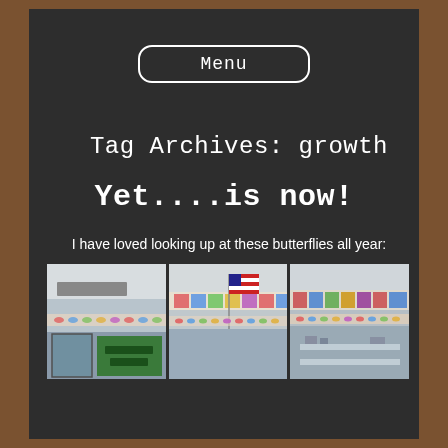Menu
Tag Archives: growth
Yet....is now!
I have loved looking up at these butterflies all year:
[Figure (photo): Three classroom photos showing butterfly decorations hanging near the ceiling, including student artwork and an American flag.]